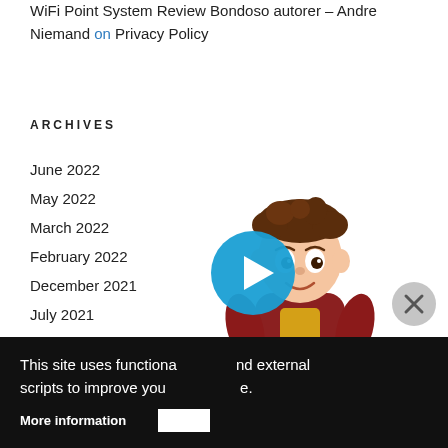WiFi Point System Review Bondoso autorer – Andre Niemand on Privacy Policy
ARCHIVES
June 2022
May 2022
March 2022
February 2022
December 2021
July 2021
[Figure (illustration): Animated 3D cartoon boy character with brown messy hair wearing a red hoodie and yellow shirt, overlapping a video player play button (blue circle with white triangle) and a close button (grey circle with X)]
This site uses functional, cookies and external scripts to improve your experience.
More information
Ok